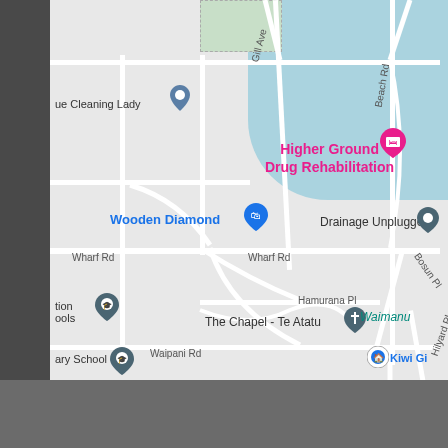[Figure (map): Google Maps screenshot showing Te Atatu Peninsula area in Auckland, New Zealand. Shows streets including Wharf Rd, Beach Rd, Gill Ave, Hamurana Pl, Waipani Rd, Bosun Pl, Hilyard Pl. Points of interest include Higher Ground Drug Rehabilitation, Wooden Diamond, Drainage Unplugged, The Chapel - Te Atatu, Kiwi G (partially visible), and markers for ue Cleaning Lady, tion ools (Education), ary School. Water (ocean/harbour) visible top right. Gray bar at bottom.]